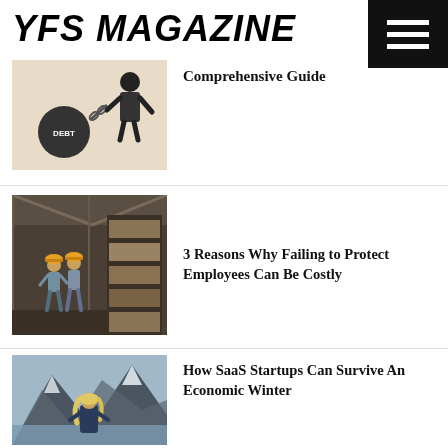YFS MAGAZINE
[Figure (illustration): Cartoon illustration of a person chained to a heavy ball labeled DEBT, on a beige background]
Comprehensive Guide
[Figure (photo): Photo of two workers in yellow hard hats walking in a warehouse with shelves of boxes]
3 Reasons Why Failing to Protect Employees Can Be Costly
[Figure (photo): Photo of a person with blonde hair standing facing mountains and a lake in a wintry scene]
How SaaS Startups Can Survive An Economic Winter